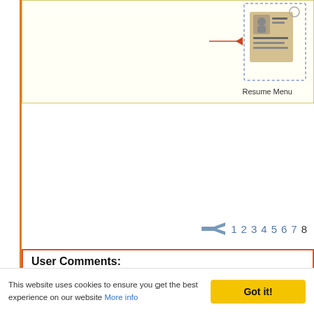[Figure (screenshot): Partial screenshot of a web page showing a resume menu thumbnail image in the top right corner against a light yellow background.]
Resume Menu
[Figure (other): Pagination navigation with left arrow and page numbers 1 2 3 4 5 6 7 8]
User Comments:
ALSO ON DIGITAL DIGEST
[Figure (screenshot): Thumbnail card for 'Blu-ray, Disc Sales Fall']
[Figure (screenshot): Thumbnail card for 'SoundCloud Flags']
This website uses cookies to ensure you get the best experience on our website More info
Got it!